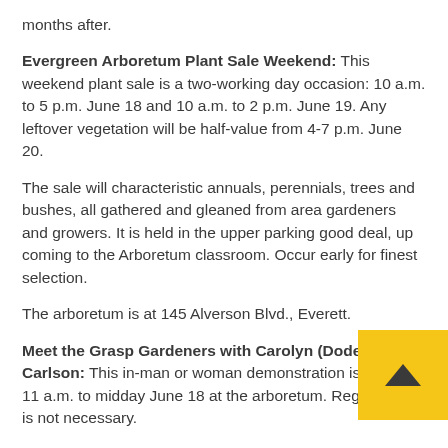months after.
Evergreen Arboretum Plant Sale Weekend: This weekend plant sale is a two-working day occasion: 10 a.m. to 5 p.m. June 18 and 10 a.m. to 2 p.m. June 19. Any leftover vegetation will be half-value from 4-7 p.m. June 20.
The sale will characteristic annuals, perennials, trees and bushes, all gathered and gleaned from area gardeners and growers. It is held in the upper parking good deal, up coming to the Arboretum classroom. Occur early for finest selection.
The arboretum is at 145 Alverson Blvd., Everett.
Meet the Grasp Gardeners with Carolyn (Dode) Carlson: This in-man or woman demonstration is set for 11 a.m. to midday June 18 at the arboretum. Registration is not necessary.
Learn far more about the attractive and a great deal-photographed 200-foot border that the Grasp Gardeners